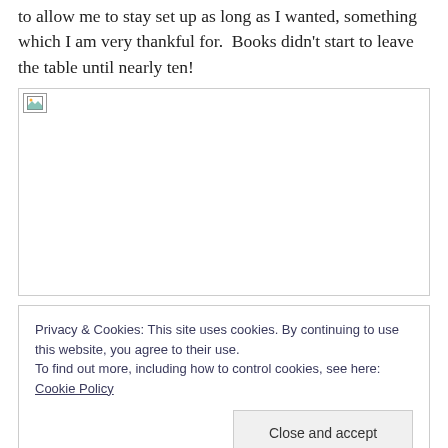to allow me to stay set up as long as I wanted, something which I am very thankful for.  Books didn't start to leave the table until nearly ten!
[Figure (photo): A partially loaded or broken image placeholder shown as a small icon in the top-left corner of a large white bordered rectangle.]
Privacy & Cookies: This site uses cookies. By continuing to use this website, you agree to their use.
To find out more, including how to control cookies, see here: Cookie Policy
Close and accept